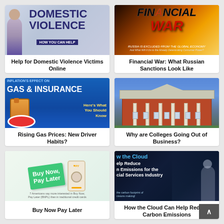[Figure (illustration): Thumbnail image for article about domestic violence with bold text 'DOMESTIC VIOLENCE HOW YOU CAN HELP']
Help for Domestic Violence Victims Online
[Figure (illustration): Thumbnail image showing fiery financial war imagery with text 'FINANCIAL WAR' and 'RUSSIA IS EXCLUDED FROM THE GLOBAL ECONOMY']
Financial War: What Russian Sanctions Look Like
[Figure (illustration): Thumbnail image with blue background showing text 'GAS & INSURANCE' with inflation effect theme]
Rising Gas Prices: New Driver Habits?
[Figure (illustration): Thumbnail image showing a college building illustration]
Why are Colleges Going Out of Business?
[Figure (illustration): Thumbnail image showing Buy Now Pay Later concept with green tag and phone]
Buy Now Pay Later
[Figure (illustration): Thumbnail image showing cloud computing concept with text 'How the Cloud Help Reduce Emissions for the Social Services Industry']
How the Cloud Can Help Reduce Carbon Emissions